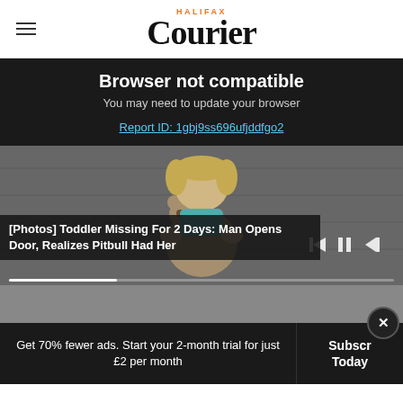HALIFAX Courier
Browser not compatible
You may need to update your browser
Report ID: 1gbj9ss696ufjddfgo2
[Figure (photo): Video player showing a toddler holding a stuffed teddy bear with playback controls and progress bar visible]
[Photos] Toddler Missing For 2 Days: Man Opens Door, Realizes Pitbull Had Her
Get 70% fewer ads. Start your 2-month trial for just £2 per month
Subscribe Today